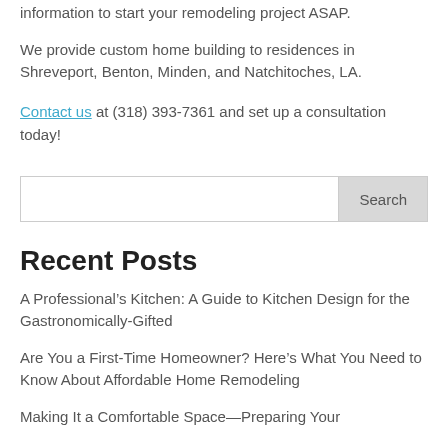information to start your remodeling project ASAP.
We provide custom home building to residences in Shreveport, Benton, Minden, and Natchitoches, LA.
Contact us at (318) 393-7361 and set up a consultation today!
Search
Recent Posts
A Professional’s Kitchen: A Guide to Kitchen Design for the Gastronomically-Gifted
Are You a First-Time Homeowner? Here’s What You Need to Know About Affordable Home Remodeling
Making It a Comfortable Space—Preparing Your